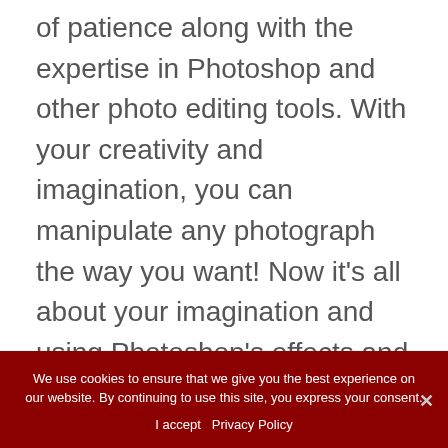of patience along with the expertise in Photoshop and other photo editing tools. With your creativity and imagination, you can manipulate any photograph the way you want! Now it's all about your imagination and using Photoshop's effects and other tools cleverly.
You simply have to experiment with different effects to see what feeling they give you as having expertise in Photoshop can help you greatly in producing amazing results. Here
We use cookies to ensure that we give you the best experience on our website. By continuing to use this site, you express your consent.
I accept   Privacy Policy